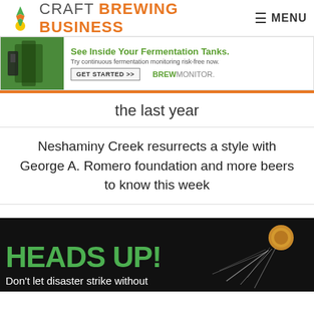CRAFT BREWING BUSINESS  MENU
[Figure (screenshot): Advertisement for BrewMonitor fermentation monitoring: 'See Inside Your Fermentation Tanks. Try continuous fermentation monitoring risk-free now. GET STARTED >> BREWMONITOR.']
the last year
Neshaminy Creek resurrects a style with George A. Romero foundation and more beers to know this week
[Figure (screenshot): Advertisement with black background showing 'HEADS UP!' in large green text and 'Don't let disaster strike without' in white text, with a cork popping image on the right.]